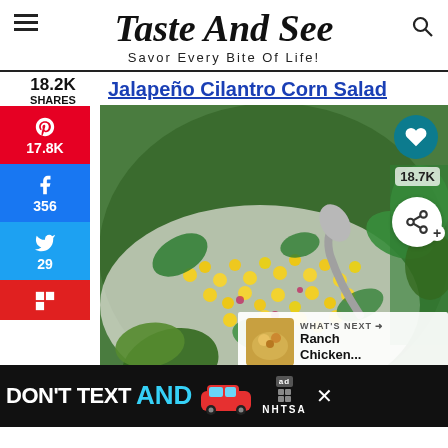Taste And See — Savor Every Bite Of Life!
18.2K SHARES
Jalapeño Cilantro Corn Salad
[Figure (photo): A closeup photo of a bowl of Jalapeño Cilantro Corn Salad with corn kernels, cilantro, jalapeño, and a spoon, with cilantro leaves in the background. Social sharing sidebar on the left (Pinterest 17.8K, Facebook 356, Twitter 29, Flipboard). Heart/like button (18.7K) and share button on the right. 'What's Next: Ranch Chicken...' thumbnail overlay at bottom right.]
[Figure (infographic): Advertisement banner: DON'T TEXT AND [car emoji] — NHTSA ad with close button]